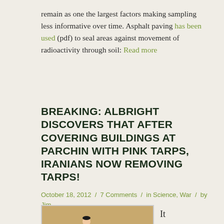remain as one the largest factors making sampling less informative over time. Asphalt paving has been used (pdf) to seal areas against movement of radioactivity through soil: Read more
BREAKING: ALBRIGHT DISCOVERS THAT AFTER COVERING BUILDINGS AT PARCHIN WITH PINK TARPS, IRANIANS NOW REMOVING TARPS!
October 18, 2012 / 7 Comments / in Science, War / by Jim White
[Figure (photo): A bullfighter in a ring holding a pink cape, seen from behind, with sandy arena ground.]
It